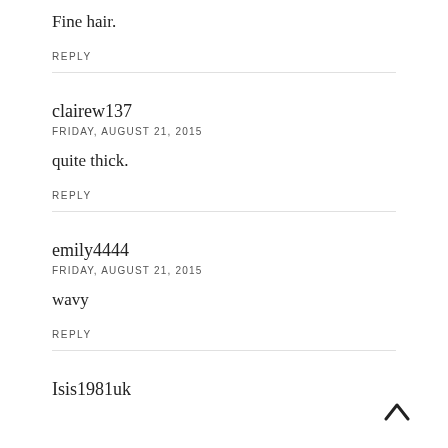Fine hair.
REPLY
clairew137
FRIDAY, AUGUST 21, 2015
quite thick.
REPLY
emily4444
FRIDAY, AUGUST 21, 2015
wavy
REPLY
Isis1981uk